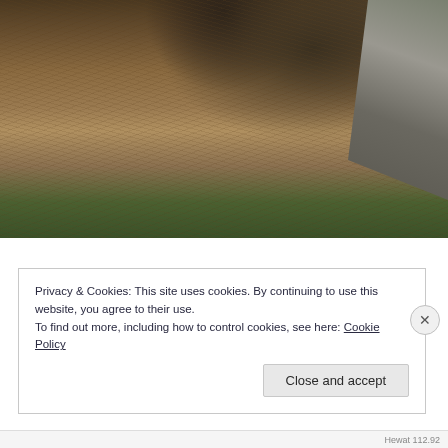[Figure (photo): Outdoor nature photo showing dry grass, hay/straw on ground near a rocky outcrop or tree base, with some green grass visible at the bottom and rocks/bark visible at upper right.]
Privacy & Cookies: This site uses cookies. By continuing to use this website, you agree to their use.
To find out more, including how to control cookies, see here: Cookie Policy